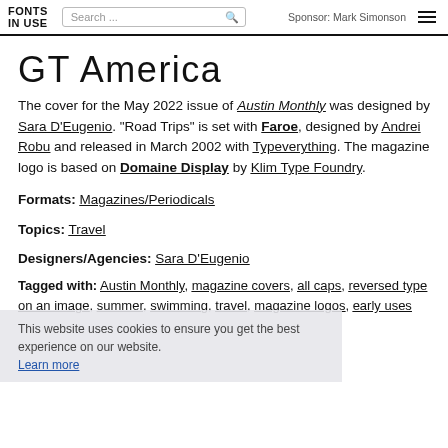FONTS IN USE | Search... | Sponsor: Mark Simonson
GT America
The cover for the May 2022 issue of Austin Monthly was designed by Sara D'Eugenio. "Road Trips" is set with Faroe, designed by Andrei Robu and released in March 2002 with Typeverything. The magazine logo is based on Domaine Display by Klim Type Foundry.
Formats: Magazines/Periodicals
Topics: Travel
Designers/Agencies: Sara D'Eugenio
Tagged with: Austin Monthly, magazine covers, all caps, reversed type on an image, summer, swimming, travel, magazine logos, early uses